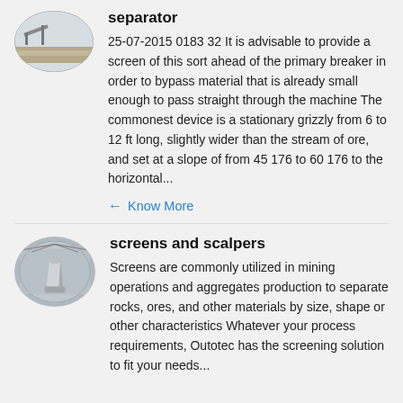[Figure (photo): Oval thumbnail image of a mining/quarry site with conveyor equipment in an arid landscape]
separator
25-07-2015 0183 32 It is advisable to provide a screen of this sort ahead of the primary breaker in order to bypass material that is already small enough to pass straight through the machine The commonest device is a stationary grizzly from 6 to 12 ft long, slightly wider than the stream of ore, and set at a slope of from 45 176 to 60 176 to the horizontal...
Know More
[Figure (photo): Oval thumbnail image of a large industrial cone crusher inside a warehouse/building structure]
screens and scalpers
Screens are commonly utilized in mining operations and aggregates production to separate rocks, ores, and other materials by size, shape or other characteristics Whatever your process requirements, Outotec has the screening solution to fit your needs...